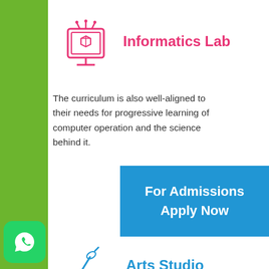[Figure (illustration): Pink icon of a computer monitor with a 3D cube and antennas on top]
Informatics Lab
The curriculum is also well-aligned to their needs for progressive learning of computer operation and the science behind it.
For Admissions Apply Now
[Figure (illustration): Blue paintbrush/art brush icon]
Arts Studio
Arts studio in HIS caters visually intelligent students to hone their skills in fine arts
[Figure (logo): WhatsApp logo green rounded square button]